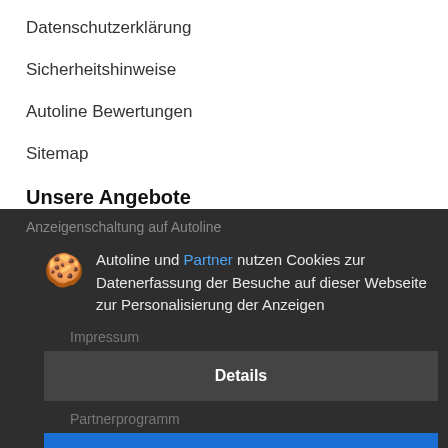Datenschutzerklärung
Sicherheitshinweise
Autoline Bewertungen
Sitemap
Unsere Angebote
Anzeigenschaltung auf Autoline
Autoline und Partner nutzen Cookies zur Datenerfassung der Besuche auf dieser Webseite zur Personalisierung der Anzeigen
Impressum
Details
Partnerprogramm
Akzeptieren und schließen